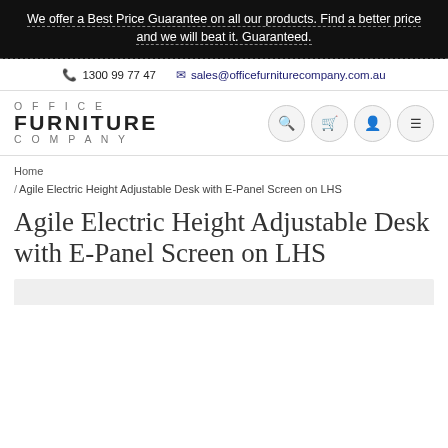We offer a Best Price Guarantee on all our products. Find a better price and we will beat it. Guaranteed.
1300 99 77 47   sales@officefurniturecompany.com.au
[Figure (logo): Office Furniture Company logo text in spaced uppercase lettering]
Home / Agile Electric Height Adjustable Desk with E-Panel Screen on LHS
Agile Electric Height Adjustable Desk with E-Panel Screen on LHS